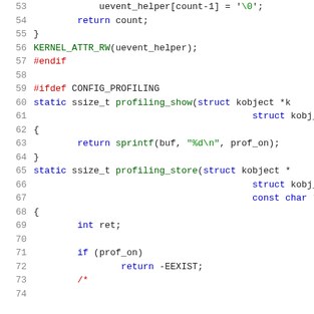[Figure (screenshot): Source code listing in C, lines 53-73, showing kernel attribute and profiling functions with syntax highlighting. Line numbers in grey on left, keywords in blue, preprocessor directives in red, strings in green.]